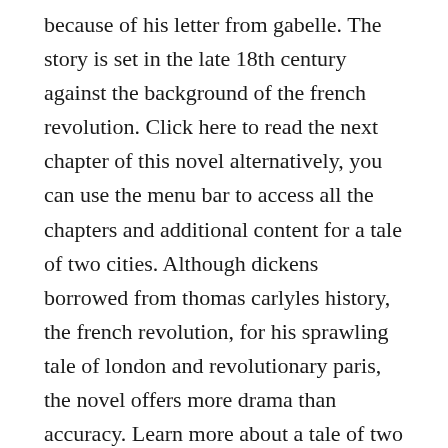because of his letter from gabelle. The story is set in the late 18th century against the background of the french revolution. Click here to read the next chapter of this novel alternatively, you can use the menu bar to access all the chapters and additional content for a tale of two cities. Although dickens borrowed from thomas carlyles history, the french revolution, for his sprawling tale of london and revolutionary paris, the novel offers more drama than accuracy. Learn more about a tale of two cities in this article.